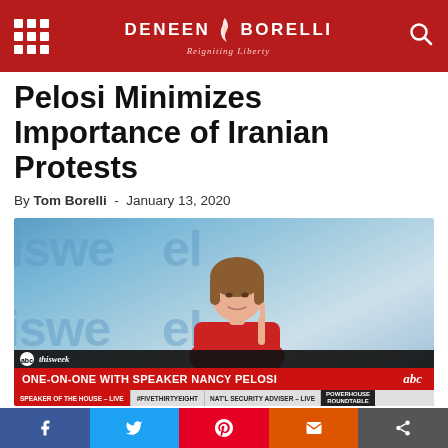Deneen Borelli – Reigniting Liberty
Pelosi Minimizes Importance of Iranian Protests
By Tom Borelli - January 13, 2020
[Figure (screenshot): TV screenshot from ABC This Week showing Speaker Nancy Pelosi in a red jacket gesturing with one finger raised. Lower thirds read: 'ONE-ON-ONE WITH SPEAKER NANCY PELOSI' with sub-bar showing 'SPEAKER OF THE HOUSE – LIVE', '#FiveThirtyEight', 'NAT'L SECURITY ADVISER – LIVE', 'POWERHOUSE ROUNDTABLE']